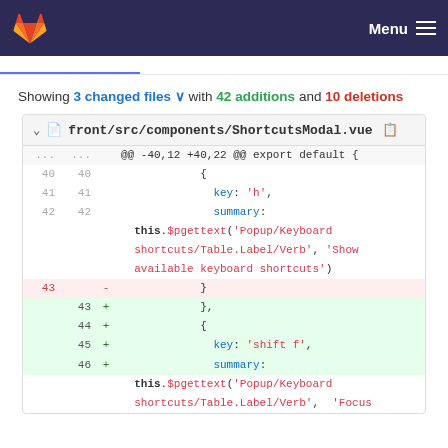GitLab navigation bar with Menu
Showing 3 changed files ∨ with 42 additions and 10 deletions
front/src/components/ShortcutsModal.vue
[Figure (screenshot): Code diff showing lines 40-46 of ShortcutsModal.vue with deletions and additions including key/summary properties and $pgettext calls]